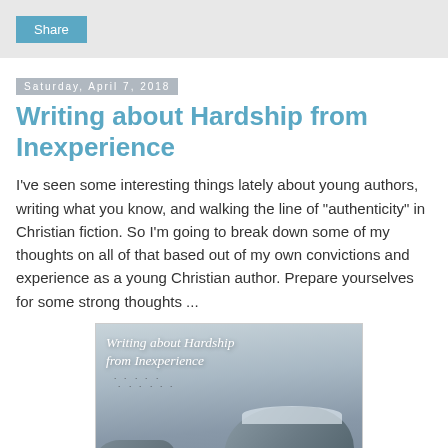Share
Saturday, April 7, 2018
Writing about Hardship from Inexperience
I've seen some interesting things lately about young authors, writing what you know, and walking the line of "authenticity" in Christian fiction. So I'm going to break down some of my thoughts on all of that based out of my own convictions and experience as a young Christian author. Prepare yourselves for some strong thoughts ...
[Figure (photo): Blog post header image showing snowy mountain rocks with birds in flight and italic script text overlay reading 'Writing about Hardship from Inexperience']